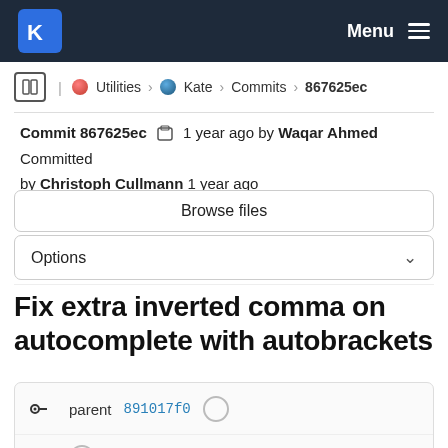KDE Menu
Utilities > Kate > Commits > 867625ec
Commit 867625ec  1 year ago by Waqar Ahmed Committed by Christoph Cullmann 1 year ago
Browse files
Options
Fix extra inverted comma on autocomplete with autobrackets
parent 891017f0